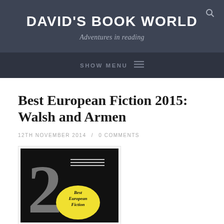DAVID'S BOOK WORLD
Adventures in reading
SHOW MENU
Best European Fiction 2015: Walsh and Armen
12TH NOVEMBER 2014 / 0 COMMENTS
[Figure (photo): Book cover of Best European Fiction, showing a large grey '2' on a black background with a yellow oval and italic text reading 'Best European Fiction']